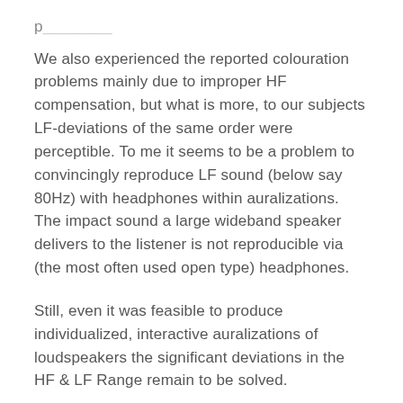p… [truncated top text]
We also experienced the reported colouration problems mainly due to improper HF compensation, but what is more, to our subjects LF-deviations of the same order were perceptible. To me it seems to be a problem to convincingly reproduce LF sound (below say 80Hz) with headphones within auralizations. The impact sound a large wideband speaker delivers to the listener is not reproducible via (the most often used open type) headphones.
Still, even it was feasible to produce individualized, interactive auralizations of loudspeakers the significant deviations in the HF & LF Range remain to be solved.
(Respond to this comment)